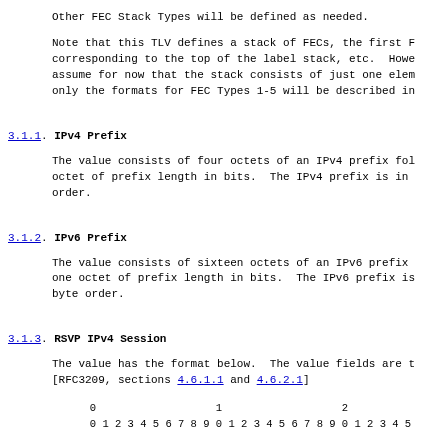Other FEC Stack Types will be defined as needed.
Note that this TLV defines a stack of FECs, the first F corresponding to the top of the label stack, etc.  Howe assume for now that the stack consists of just one elem only the formats for FEC Types 1-5 will be described in
3.1.1.  IPv4 Prefix
The value consists of four octets of an IPv4 prefix fol octet of prefix length in bits.  The IPv4 prefix is in order.
3.1.2.  IPv6 Prefix
The value consists of sixteen octets of an IPv6 prefix one octet of prefix length in bits.  The IPv6 prefix is byte order.
3.1.3.  RSVP IPv4 Session
The value has the format below.  The value fields are t [RFC3209, sections 4.6.1.1 and 4.6.2.1]
[Figure (schematic): Bit diagram header showing bit positions 0-5 across rows 0 and 1]